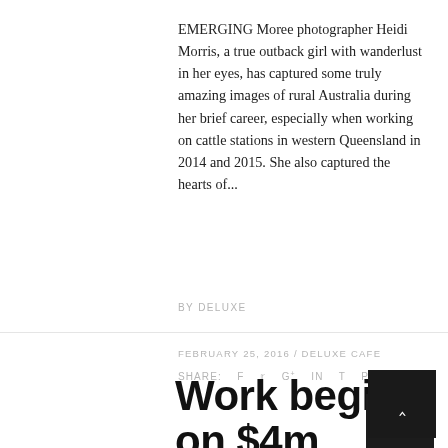EMERGING Moree photographer Heidi Morris, a true outback girl with wanderlust in her eyes, has captured some truly amazing images of rural Australia during her brief career, especially when working on cattle stations in western Queensland in 2014 and 2015. She also captured the hearts of...
BY DELUXE
SHARE:  f  t  g+  in  t  p  vk
FEBRUARY 25, 2016 / DELUXE CAFE
Work begins on $4m upgrade on the Newell south of